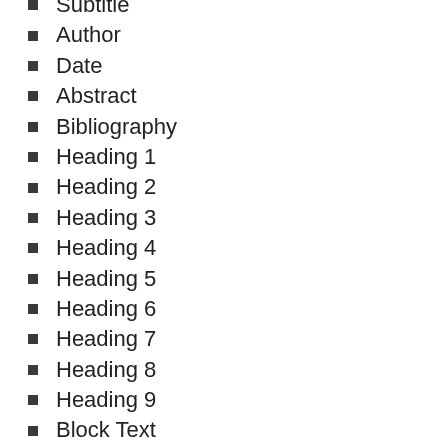Subtitle
Author
Date
Abstract
Bibliography
Heading 1
Heading 2
Heading 3
Heading 4
Heading 5
Heading 6
Heading 7
Heading 8
Heading 9
Block Text
Footnote Text
Definition Term